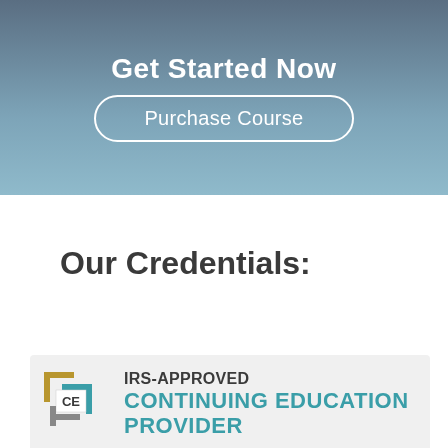Get Started Now
Purchase Course
Our Credentials:
[Figure (logo): IRS-Approved Continuing Education Provider logo with CE badge in gold and teal colors]